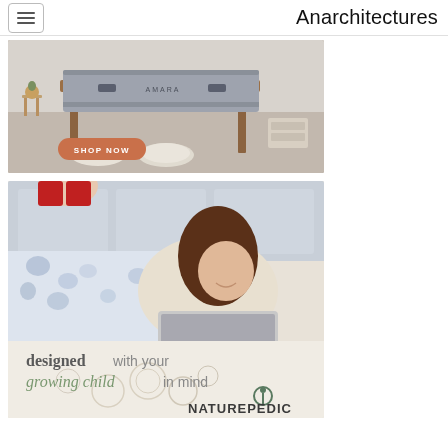Anarchitectures
[Figure (photo): Mattress advertisement with a bedroom scene showing a mattress on a wooden bed frame, pillows on the floor, and an orange 'SHOP NOW' button]
[Figure (photo): Naturepedic advertisement showing a girl lying on a bed using a laptop, with text 'designed with your growing child in mind' and the Naturepedic logo]